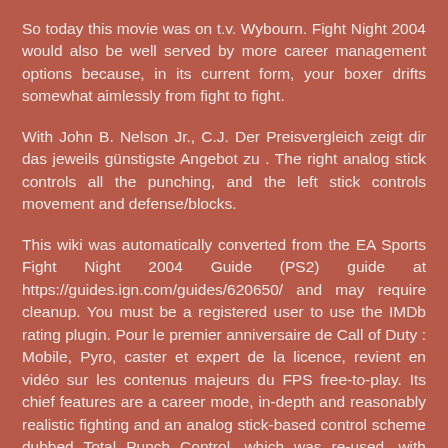So today this movie was on t.v. Wybourn. Fight Night 2004 would also be well served by more career management options because, in its current form, your boxer drifts somewhat aimlessly from fight to fight.
With John B. Nelson Jr., C.J. Der Preisvergleich zeigt dir das jeweils günstigste Angebot zu . The right analog stick controls all the punching, and the left stick controls movement and defense/blocks.
This wiki was automatically converted from the EA Sports Fight Night 2004 Guide (PS2) guide at https://guides.ign.com/guides/620650/ and may require cleanup. You must be a registered user to use the IMDb rating plugin. Pour le premier anniversaire de Call of Duty : Mobile, Pyro, caster et expert de la licence, revient en vidéo sur les contenus majeurs du FPS free-to-play. Its chief features are a career mode, in-depth and reasonably realistic fighting and an analog stick-based control scheme dubbed Total Punch Control, which was re-used, with enhancements, in the sequ... Les meilleurs jeux des mois de septembre-octobre 2020. Keep track of everything you watch; tell your friends. Fight Night 2004 :